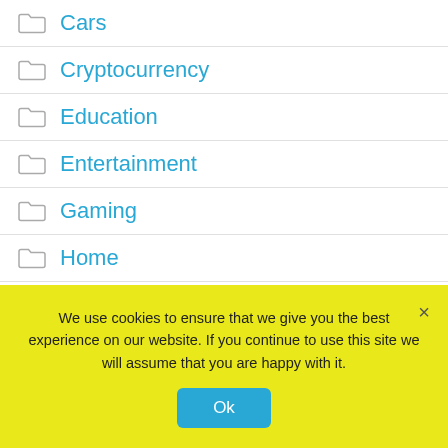Cars
Cryptocurrency
Education
Entertainment
Gaming
Home
How to
Marketing
Technology
tips
We use cookies to ensure that we give you the best experience on our website. If you continue to use this site we will assume that you are happy with it.